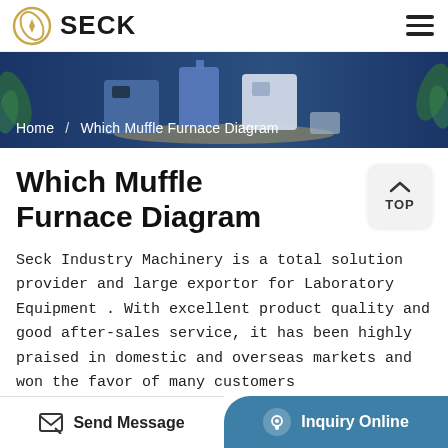SECK
[Figure (photo): Hero banner image showing laboratory equipment (muffle furnaces and related devices) on a dark blue background with breadcrumb navigation overlay]
Which Muffle Furnace Diagram
Seck Industry Machinery is a total solution provider and large exportor for Laboratory Equipment . With excellent product quality and good after-sales service, it has been highly praised in domestic and overseas markets and won the favor of many customers
Send Message | Inquiry Online